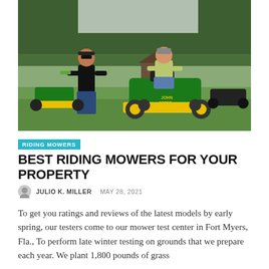[Figure (photo): Two men on a grassy lawn. One man in a black shirt stands watching while another man in a light green shirt sits riding a large John Deere zero-turn riding mower (green and yellow). Other riding mowers and a shed visible in background.]
RIDING MOWERS
BEST RIDING MOWERS FOR YOUR PROPERTY
JULIO K. MILLER  MAY 28, 2021
To get you ratings and reviews of the latest models by early spring, our testers come to our mower test center in Fort Myers, Fla., To perform late winter testing on grounds that we prepare each year. We plant 1,800 pounds of grass